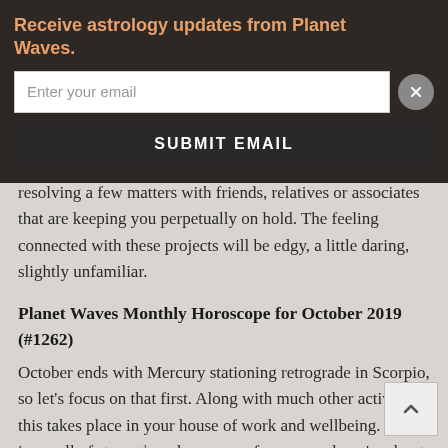Receive astrology updates from Planet Waves.
resolving a few matters with friends, relatives or associates that are keeping you perpetually on hold. The feeling connected with these projects will be edgy, a little daring, slightly unfamiliar.
Planet Waves Monthly Horoscope for October 2019 (#1262)
October ends with Mercury stationing retrograde in Scorpio, so let’s focus on that first. Along with much other activity, this takes place in your house of work and wellbeing. This is a well of strength and resources for you, and you’re about to have full access. Yet it represents an inner reality and